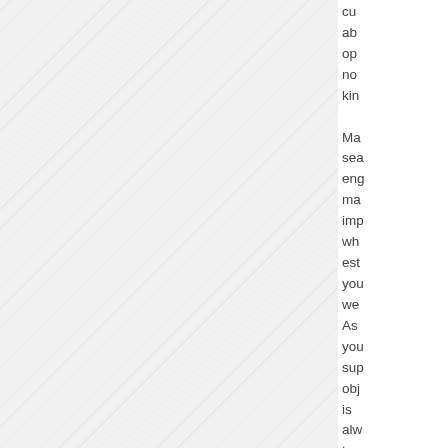cu
ab
op
no
kin

Ma
sea
eng
ma
imp
wh
est
you
we
As
you
sup
obj
is
alw
to
ha
pe
stu